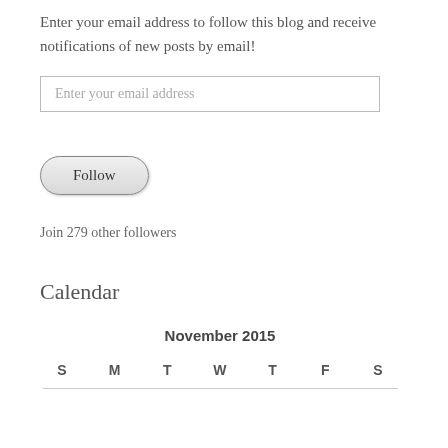Enter your email address to follow this blog and receive notifications of new posts by email!
Enter your email address
Follow
Join 279 other followers
Calendar
| November 2015 |  |  |  |  |  |  |
| --- | --- | --- | --- | --- | --- | --- |
| S | M | T | W | T | F | S |